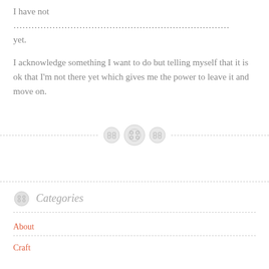I have not ………………………………………… yet.
I acknowledge something I want to do but telling myself that it is ok that I'm not there yet which gives me the power to leave it and move on.
[Figure (illustration): Decorative divider with three button icons (two-hole, four-hole, two-hole) centered on a dashed horizontal line]
Categories
About